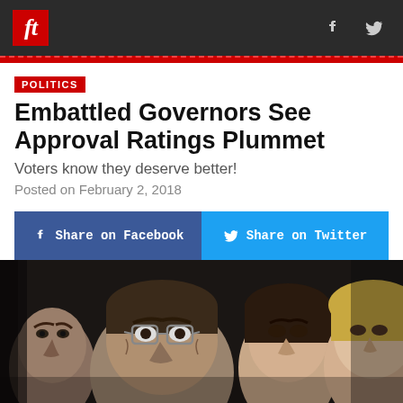ft
POLITICS
Embattled Governors See Approval Ratings Plummet
Voters know they deserve better!
Posted on February 2, 2018
Share on Facebook  Share on Twitter
[Figure (photo): Close-up photo of multiple people's faces against a dark background, showing governors in a group portrait style arrangement]